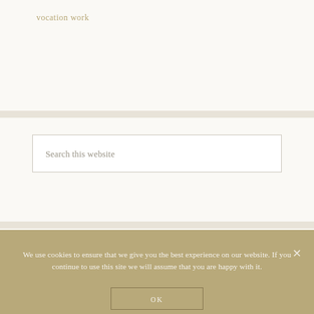vocation work
Search this website
© 2019–2022 Sara Huron, all rights reserved.
We use cookies to ensure that we give you the best experience on our website. If you continue to use this site we will assume that you are happy with it.
OK